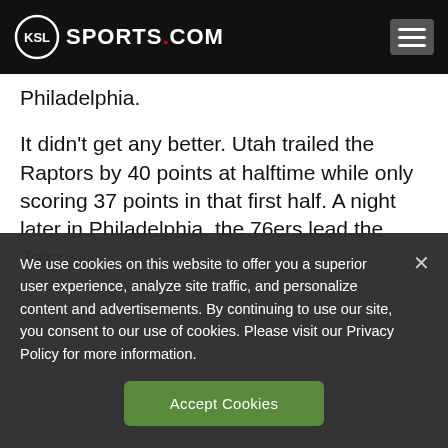KSL SPORTS.COM
Philadelphia.
It didn't get any better. Utah trailed the Raptors by 40 points at halftime while only scoring 37 points in that first half. A night later in Philadelphia, the 76ers lead the Jazz
We use cookies on this website to offer you a superior user experience, analyze site traffic, and personalize content and advertisements. By continuing to use our site, you consent to our use of cookies. Please visit our Privacy Policy for more information.
Accept Cookies